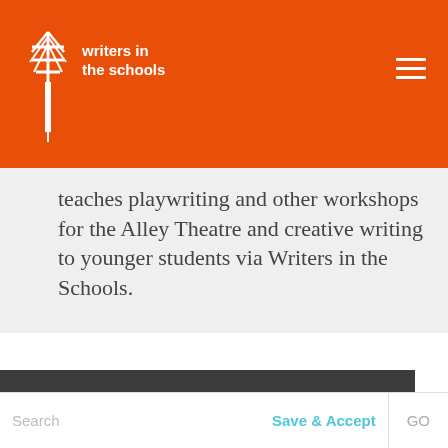writers in the schools
teaches playwriting and other workshops for the Alley Theatre and creative writing to younger students via Writers in the Schools.
Privacy & Cookies: This site uses cookies. By continuing to use this website, you agree to their use. For more information please view our Terms of Use and Privacy Statement.
Search
Search | Save & Accept | GO